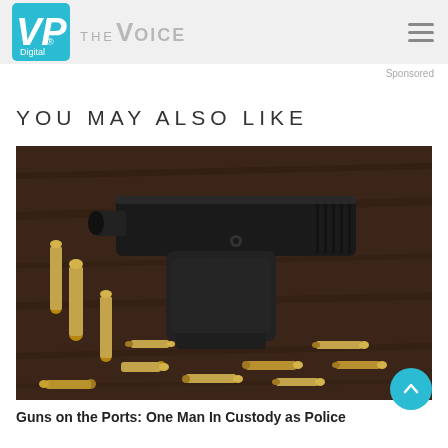VP Digital | THE VOICE
Sponsored
YOU MAY ALSO LIKE
[Figure (photo): A black semi-automatic handgun resting on a dark wooden surface surrounded by scattered brass bullet casings and loose ammunition]
Guns on the Ports: One Man In Custody as Police